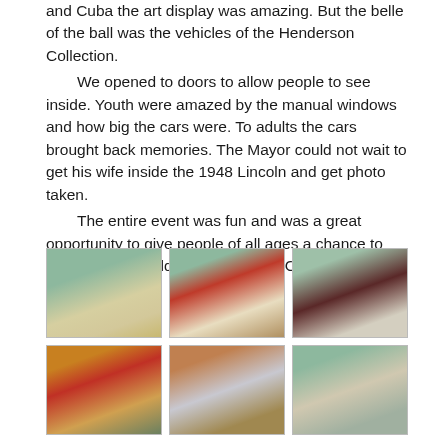and Cuba the art display was amazing. But the belle of the ball was the vehicles of the Henderson Collection.
    We opened to doors to allow people to see inside. Youth were amazed by the manual windows and how big the cars were. To adults the cars brought back memories. The Mayor could not wait to get his wife inside the 1948 Lincoln and get photo taken.
    The entire event was fun and was a great opportunity to give people of all ages a chance to experience the old cars we love. – Charlotte
[Figure (photo): White classic car parked in a lot with trees in background]
[Figure (photo): Red and white classic car parked in a lot]
[Figure (photo): Dark red classic convertible car parked near columns]
[Figure (photo): Red classic car parked in front of a building with modern architecture]
[Figure (photo): White classic car parked in front of a building]
[Figure (photo): White classic car parked near a museum building with trees]